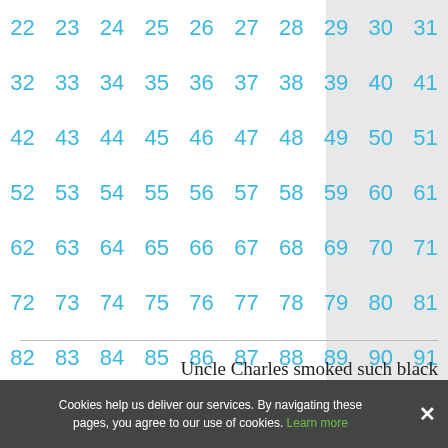| 22 | 23 | 24 | 25 | 26 | 27 | 28 | 29 | 30 | 31 |
| 32 | 33 | 34 | 35 | 36 | 37 | 38 | 39 | 40 | 41 |
| 42 | 43 | 44 | 45 | 46 | 47 | 48 | 49 | 50 | 51 |
| 52 | 53 | 54 | 55 | 56 | 57 | 58 | 59 | 60 | 61 |
| 62 | 63 | 64 | 65 | 66 | 67 | 68 | 69 | 70 | 71 |
| 72 | 73 | 74 | 75 | 76 | 77 | 78 | 79 | 80 | 81 |
| 82 | 83 | 84 | 85 | 86 | 87 | 88 | 89 | 90 | 91 |
| 92 |  |  |  |  |  |  |  |  |  |
Uncle Charles smoked such black
Cookies help us deliver our services. By navigating these pages, you agree to our use of cookies. Learn more